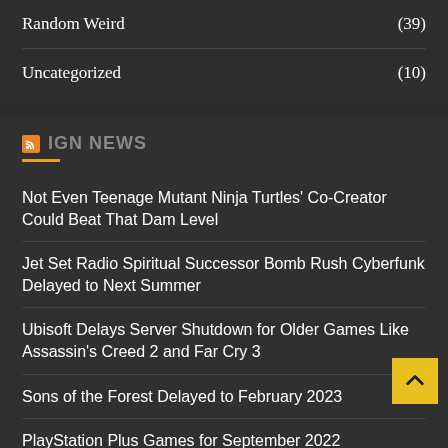Random Weird (39)
Uncategorized (10)
IGN NEWS
Not Even Teenage Mutant Ninja Turtles' Co-Creator Could Beat That Dam Level
Jet Set Radio Spiritual Successor Bomb Rush Cyberfunk Delayed to Next Summer
Ubisoft Delays Server Shutdown for Older Games Like Assassin's Creed 2 and Far Cry 3
Sons of the Forest Delayed to February 2023
PlayStation Plus Games for September 2022